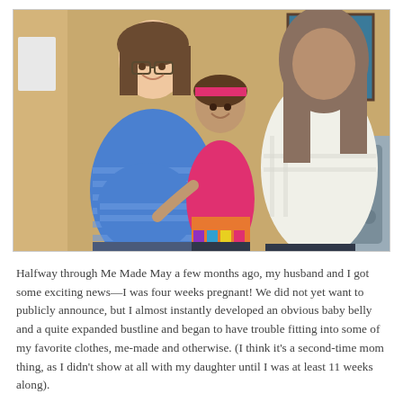[Figure (photo): A family photo showing a pregnant woman in a blue striped shirt, a young girl in a pink top with a red headband, and another adult partially visible on the right. They are indoors with a colorful painting on the wall.]
Halfway through Me Made May a few months ago, my husband and I got some exciting news—I was four weeks pregnant! We did not yet want to publicly announce, but I almost instantly developed an obvious baby belly and a quite expanded bustline and began to have trouble fitting into some of my favorite clothes, me-made and otherwise. (I think it's a second-time mom thing, as I didn't show at all with my daughter until I was at least 11 weeks along).
I didn't want to give up on Me Made May, so I just tried to